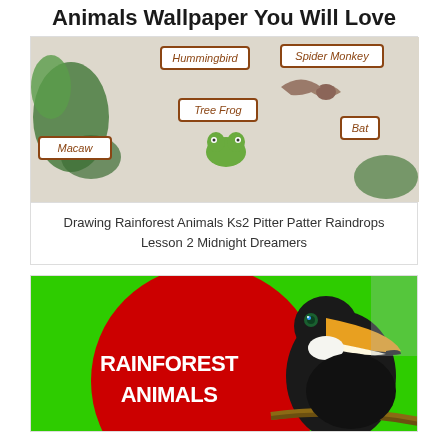Animals Wallpaper You Will Love
[Figure (illustration): Hand-drawn rainforest animal chart with labeled boxes: Hummingbird, Spider Monkey, Tree Frog, Bat, Macaw, and drawings of leaves, a frog, bat, and other animals]
Drawing Rainforest Animals Ks2 Pitter Patter Raindrops Lesson 2 Midnight Dreamers
[Figure (illustration): Photo of a toucan bird on a branch with a red circle overlay containing bold white text RAINFOREST ANIMALS on a bright green background]